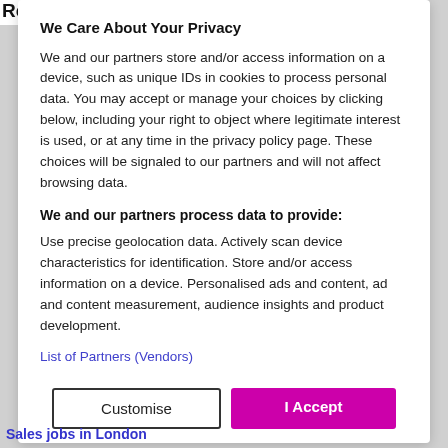Recommended courses
We Care About Your Privacy
We and our partners store and/or access information on a device, such as unique IDs in cookies to process personal data. You may accept or manage your choices by clicking below, including your right to object where legitimate interest is used, or at any time in the privacy policy page. These choices will be signaled to our partners and will not affect browsing data.
We and our partners process data to provide:
Use precise geolocation data. Actively scan device characteristics for identification. Store and/or access information on a device. Personalised ads and content, ad and content measurement, audience insights and product development.
List of Partners (Vendors)
Customise
I Accept
Sales jobs in London